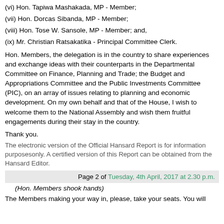(vi) Hon. Tapiwa Mashakada, MP - Member;
(vii) Hon. Dorcas Sibanda, MP - Member;
(viii) Hon. Tose W. Sansole, MP - Member; and,
(ix) Mr. Christian Ratsakatika - Principal Committee Clerk.
Hon. Members, the delegation is in the country to share experiences and exchange ideas with their counterparts in the Departmental Committee on Finance, Planning and Trade; the Budget and Appropriations Committee and the Public Investments Committee (PIC), on an array of issues relating to planning and economic development. On my own behalf and that of the House, I wish to welcome them to the National Assembly and wish them fruitful engagements during their stay in the country.
Thank you.
The electronic version of the Official Hansard Report is for information purposesonly. A certified version of this Report can be obtained from the Hansard Editor.
Page 2 of Tuesday, 4th April, 2017 at 2.30 p.m.
(Hon. Members shook hands)
The Members making your way in, please, take your seats. You will